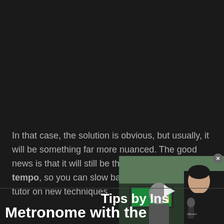In that case, the solution is obvious, but usually, it will be something far more nuanced. The good news is that it will still be there, whatever the tempo, so you can slow back down work with a tutor on new techniques.
[Figure (screenshot): Video overlay thumbnail showing a woman at what appears to be an MTV event on a red carpet with crowd in background. Play button visible in center.]
Tips by Ins
Metronome with the